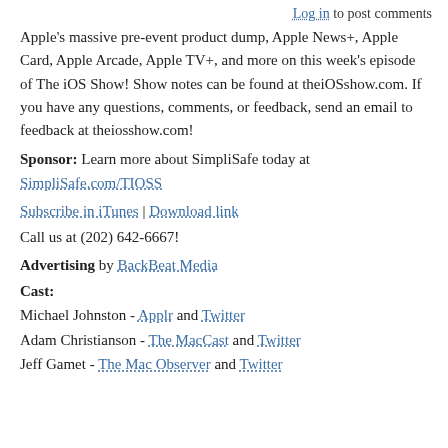Log in to post comments
Apple's massive pre-event product dump, Apple News+, Apple Card, Apple Arcade, Apple TV+, and more on this week's episode of The iOS Show! Show notes can be found at theiOSshow.com. If you have any questions, comments, or feedback, send an email to feedback at theiosshow.com!
Sponsor: Learn more about SimpliSafe today at SimpliSafe.com/TIOSS
Subscribe in iTunes | Download link
Call us at (202) 642-6667!
Advertising by BackBeat Media
Cast:
Michael Johnston - Applr and Twitter
Adam Christianson - The MacCast and Twitter
Jeff Gamet - The Mac Observer and Twitter